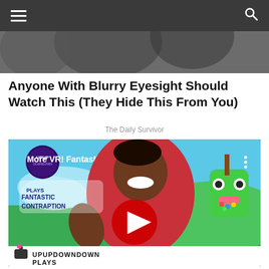Navigation bar with hamburger menu and search icon
[Figure (photo): Partially visible photo of people at top of page, behind dark navigation bar]
Anyone With Blurry Eyesight Should Watch This (They Hide This From You)
The Daily Survivor
[Figure (screenshot): YouTube video thumbnail showing a young man in a red shirt giving thumbs up, with Fantastic Contraption VR game branding. Video title: 'More VR! Fantastic Contraption! — ...' Channel: UpUpDownDown. Play button overlay visible. Bottom shows 'UPUPDOWNDOWN PLAYS' branding.]